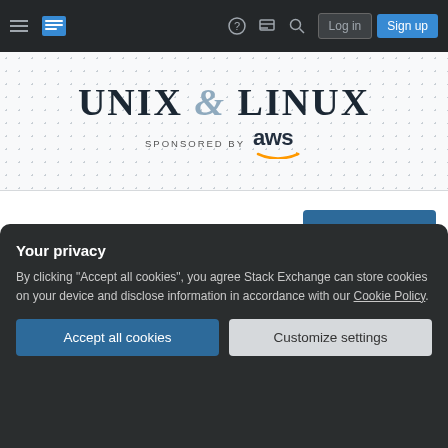Unix & Linux — Stack Exchange navigation bar with Log in and Sign up buttons
[Figure (logo): Unix & Linux Stack Exchange logo with 'SPONSORED BY aws' text and AWS logo]
Ask Question
How to decrease the time the processes would wait (blocked) for disk reads (only to discover an error)?
Your privacy
By clicking "Accept all cookies", you agree Stack Exchange can store cookies on your device and disclose information in accordance with our Cookie Policy.
Accept all cookies
Customize settings
read from a disk with bad sectors, and do it quickly,